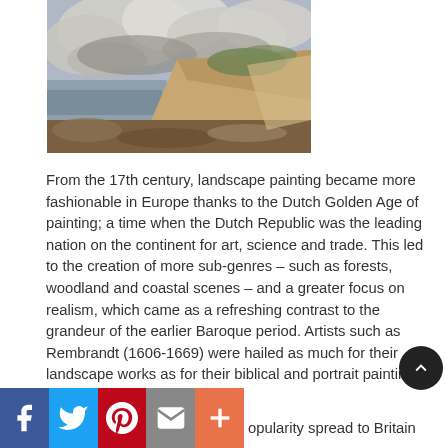[Figure (illustration): A landscape painting showing a coastal cliff scene with dramatic stormy clouds, rocky shoreline, grassy hillside, and turbulent sea. Painted in earth tones with grey-blue sky.]
From the 17th century, landscape painting became more fashionable in Europe thanks to the Dutch Golden Age of painting; a time when the Dutch Republic was the leading nation on the continent for art, science and trade. This led to the creation of more sub-genres – such as forests, woodland and coastal scenes – and a greater focus on realism, which came as a refreshing contrast to the grandeur of the earlier Baroque period. Artists such as Rembrandt (1606-1669) were hailed as much for their landscape works as for their biblical and portrait paintings.
[Figure (other): Social share bar with Facebook, Twitter, Pinterest, email, and More buttons]
opularity spread to Britain